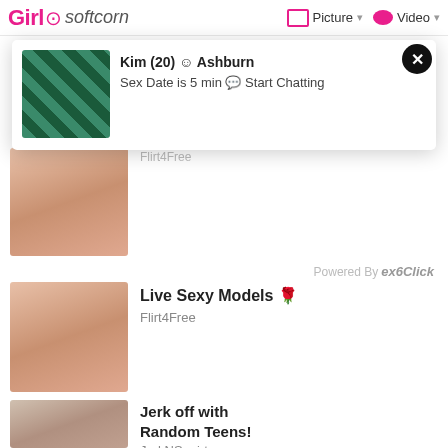Girl softcore | Picture | Video
[Figure (screenshot): Popup advertisement with close button, thumbnail image, name Kim (20) Ashburn, Sex Date is 5 min Start Chatting]
Kim (20) © Ashburn
Sex Date is 5 min 💬 Start Chatting
Flirt4Free
Powered By exoClick
[Figure (photo): Ad thumbnail image 1]
Live Sexy Models 🌹
Flirt4Free
[Figure (photo): Ad thumbnail image 2]
Jerk off with Random Teens!
JerkNSquirt